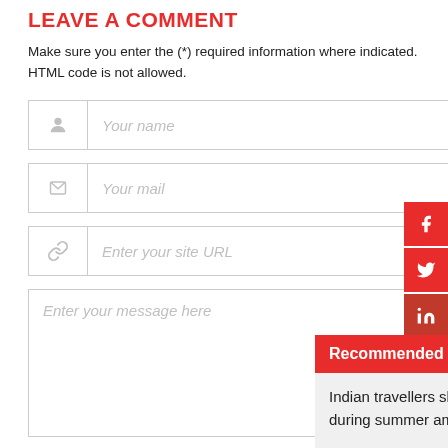LEAVE A COMMENT
Make sure you enter the (*) required information where indicated. HTML code is not allowed.
[Figure (screenshot): Web comment form with three text input fields (Your name, Your mail, Enter your site URL) each with an icon on the left, a large textarea (Enter your message here), captcha instruction text, and a red COMMENT button. A social media sidebar shows Facebook, Twitter, and LinkedIn icons. A Recommended Reading panel overlays the bottom-right with a red header and text about Indian travellers and a Read more link.]
Recommended Reading
Indian travellers show the strongest intent to travel during summer among 5 APAC countries
Read more...